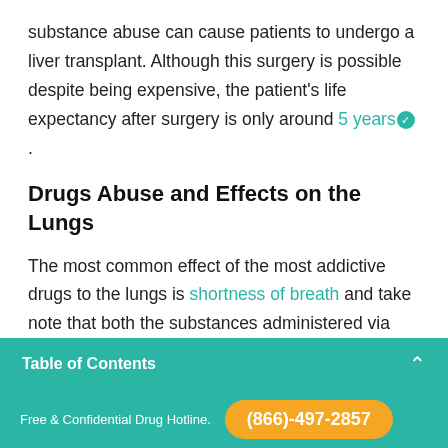substance abuse can cause patients to undergo a liver transplant. Although this surgery is possible despite being expensive, the patient's life expectancy after surgery is only around 5 years.
Drugs Abuse and Effects on the Lungs
The most common effect of the most addictive drugs to the lungs is shortness of breath and take note that both the substances administered via inhalation and orally can produce this adverse
Table of Contents
Free & Confidential Drug Hotline. (866)-497-2857